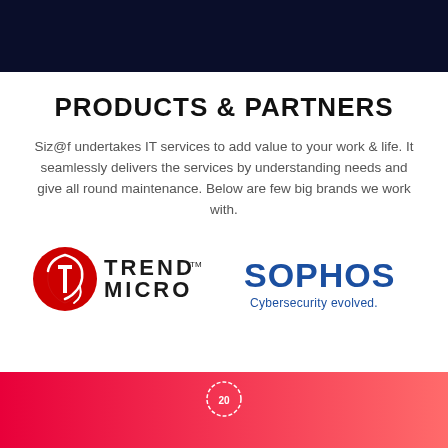PRODUCTS & PARTNERS
Siz@f undertakes IT services to add value to your work & life. It seamlessly delivers the services by understanding needs and give all round maintenance. Below are few big brands we work with.
[Figure (logo): Trend Micro logo — red circular emblem with white stylized T/arrow mark, followed by bold text TREND MICRO with TM superscript]
[Figure (logo): Sophos logo — bold blue text SOPHOS with tagline 'Cybersecurity evolved.' in blue below]